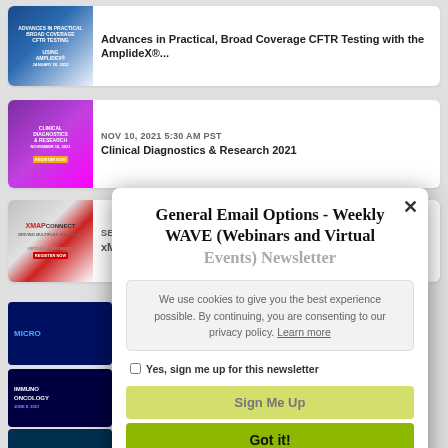[Figure (screenshot): Event listing card: Advances in Practical, Broad Coverage CFTR Testing with the AmplideX®...]
Advances in Practical, Broad Coverage CFTR Testing with the AmplideX®...
[Figure (screenshot): Event listing card: NOV 10, 2021 5:30 AM PST - Clinical Diagnostics & Research 2021]
NOV 10, 2021 5:30 AM PST
Clinical Diagnostics & Research 2021
[Figure (screenshot): Event listing card: SEP 08, 2021 6:00 AM PDT - xMAP Connect Virtual Conference (partially visible)]
SEP 08, 2021 6:00 AM PDT
[Figure (screenshot): Partially visible event cards: MICRO..., Immuno Oncology, FORENSIC]
General Email Options - Weekly WAVE (Webinars and Virtual Events) Newsletter
We use cookies to give you the best experience possible. By continuing, you are consenting to our privacy policy. Learn more
Yes, sign me up for this newsletter
Sign Me Up
Got it!
See more newsletter categories